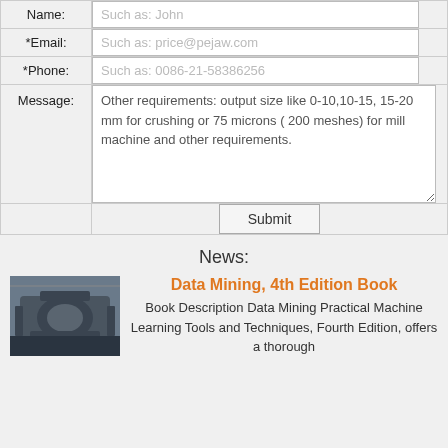| Field | Input |
| --- | --- |
| Name: | Such as: John |
| *Email: | Such as: price@pejaw.com |
| *Phone: | Such as: 0086-21-58386256 |
| Message: | Other requirements: output size like 0-10,10-15, 15-20 mm for crushing or 75 microns ( 200 meshes) for mill machine and other requirements. |
|  | Submit |
News:
[Figure (photo): Industrial mining/crushing machine in a warehouse setting]
Data Mining, 4th Edition Book
Book Description Data Mining Practical Machine Learning Tools and Techniques, Fourth Edition, offers a thorough